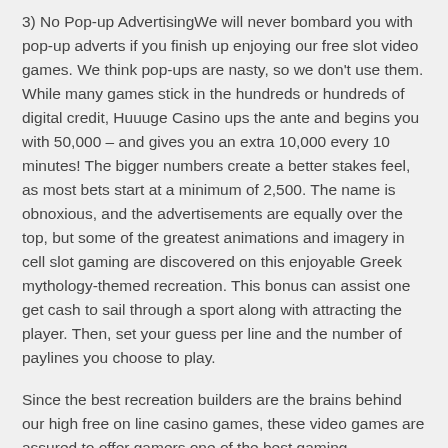3) No Pop-up AdvertisingWe will never bombard you with pop-up adverts if you finish up enjoying our free slot video games. We think pop-ups are nasty, so we don't use them. While many games stick in the hundreds or hundreds of digital credit, Huuuge Casino ups the ante and begins you with 50,000 – and gives you an extra 10,000 every 10 minutes! The bigger numbers create a better stakes feel, as most bets start at a minimum of 2,500. The name is obnoxious, and the advertisements are equally over the top, but some of the greatest animations and imagery in cell slot gaming are discovered on this enjoyable Greek mythology-themed recreation. This bonus can assist one get cash to sail through a sport along with attracting the player. Then, set your guess per line and the number of paylines you choose to play.
Since the best recreation builders are the brains behind our high free on line casino games, these video games are assured to offer gamers one of the best gaming experience. Free slots allow you to expertise the joy of ...